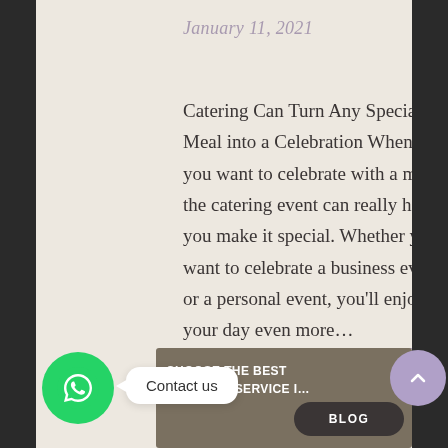January 11, 2021
Catering Can Turn Any Special Meal into a Celebration Whenever you want to celebrate with a meal, the catering event can really help you make it special. Whether you want to celebrate a business event or a personal event, you'll enjoy your day even more…
READ MORE
Contact us
CHOOSE THE BEST CATERING SERVICE I…
BLOG